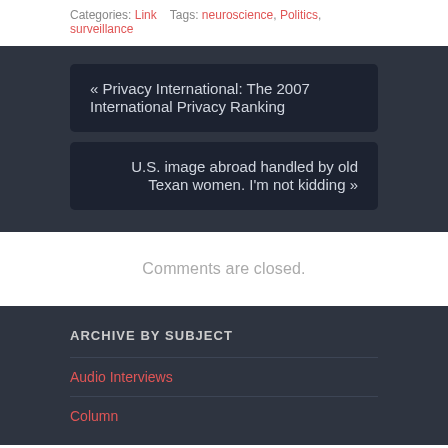Categories: Link    Tags: neuroscience, Politics, surveillance
« Privacy International: The 2007 International Privacy Ranking
U.S. image abroad handled by old Texan women. I'm not kidding »
Comments are closed.
ARCHIVE BY SUBJECT
Audio Interviews
Column